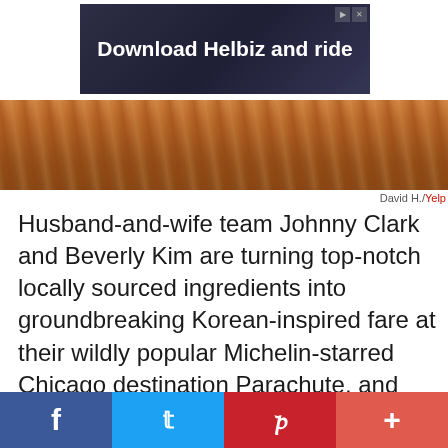[Figure (other): Advertisement banner: Download Helbiz and ride]
[Figure (photo): Food photograph strip showing wooden/food background]
David H./Yelp
Husband-and-wife team Johnny Clark and Beverly Kim are turning top-notch locally sourced ingredients into groundbreaking Korean-inspired fare at their wildly popular Michelin-starred Chicago destination Parachute, and they earned a 2019 James Beard Award for their efforts. Take a seat at the communal table and dig into their signature potato bing bread, clams with chili butter and Chinese sausage, or kkanpunggi (spicy fried chicken chunks) with chili garlic sauce.
[Figure (other): Social media share bar with Facebook, Twitter, Pinterest, and plus buttons]